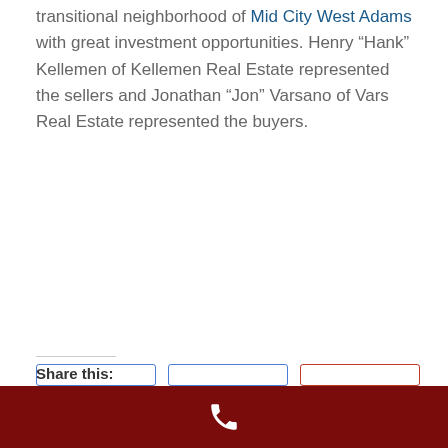transitional neighborhood of Mid City West Adams with great investment opportunities. Henry “Hank” Kellemen of Kellemen Real Estate represented the sellers and Jonathan “Jon” Varsano of Vars Real Estate represented the buyers.
Share this:
LinkedIn  Twitter  Facebook  Reddit  Email  Print